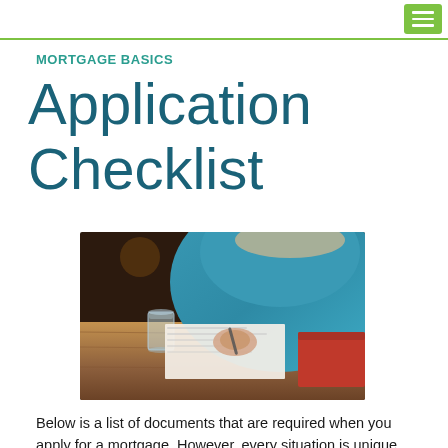MORTGAGE BASICS
Application Checklist
[Figure (photo): A woman in a blue sweater writing on documents at a wooden table, with a glass of water nearby and a red folder to the right.]
Below is a list of documents that are required when you apply for a mortgage. However, every situation is unique and you may be required to provide additional